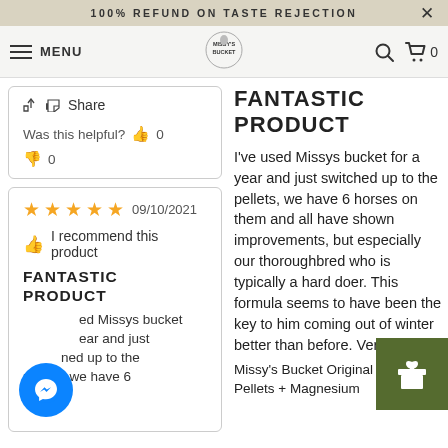100% REFUND ON TASTE REJECTION
MENU — Missy's Bucket logo — Search — Cart 0
Share
Was this helpful? 👍 0
👎 0
★★★★★  09/10/2021
👍 I recommend this product
FANTASTIC PRODUCT
I've used Missys bucket for a year and just switched up to the pellets, we have 6
FANTASTIC PRODUCT
I've used Missys bucket for a year and just switched up to the pellets, we have 6 horses on them and all have shown improvements, but especially our thoroughbred who is typically a hard doer. This formula seems to have been the key to him coming out of winter better than before. Very hap... Missy's Bucket Original Pellets + Magnesium